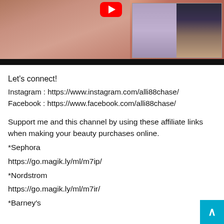[Figure (screenshot): YouTube video thumbnail showing a close-up of hands with nail polish on the left, a red YouTube play button in the center-top, and two smaller video thumbnails on the right showing women. A black progress bar is visible at the bottom of the video.]
Let's connect!
Instagram : https://www.instagram.com/alli88chase/
Facebook : https://www.facebook.com/alli88chase/
Support me and this channel by using these affiliate links when making your beauty purchases online.
*Sephora
https://go.magik.ly/ml/m7ip/
*Nordstrom
https://go.magik.ly/ml/m7ir/
*Barney's